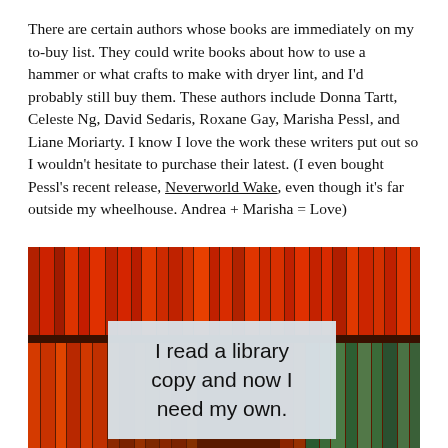There are certain authors whose books are immediately on my to-buy list. They could write books about how to use a hammer or what crafts to make with dryer lint, and I'd probably still buy them. These authors include Donna Tartt, Celeste Ng, David Sedaris, Roxane Gay, Marisha Pessl, and Liane Moriarty. I know I love the work these writers put out so I wouldn't hesitate to purchase their latest. (I even bought Pessl's recent release, Neverworld Wake, even though it's far outside my wheelhouse. Andrea + Marisha = Love)
[Figure (photo): A bookshelf with rows of red and orange book spines on the top row and various colored books on the bottom row. Overlaid in the center is a semi-transparent card reading 'I read a library copy and now I need my own.']